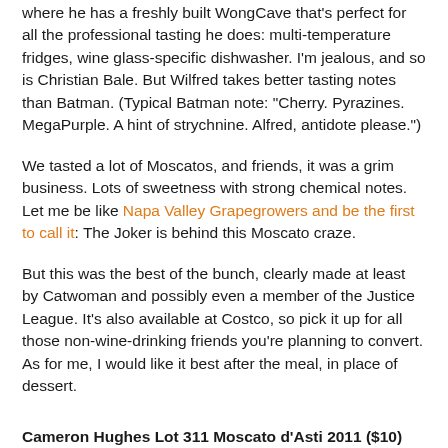where he has a freshly built WongCave that's perfect for all the professional tasting he does: multi-temperature fridges, wine glass-specific dishwasher. I'm jealous, and so is Christian Bale. But Wilfred takes better tasting notes than Batman. (Typical Batman note: "Cherry. Pyrazines. MegaPurple. A hint of strychnine. Alfred, antidote please.")
We tasted a lot of Moscatos, and friends, it was a grim business. Lots of sweetness with strong chemical notes. Let me be like Napa Valley Grapegrowers and be the first to call it: The Joker is behind this Moscato craze.
But this was the best of the bunch, clearly made at least by Catwoman and possibly even a member of the Justice League. It's also available at Costco, so pick it up for all those non-wine-drinking friends you're planning to convert. As for me, I would like it best after the meal, in place of dessert.
Cameron Hughes Lot 311 Moscato d'Asti 2011 ($10)
A pretty wine, with light floral notes and lychee fruit on both the nose and palate. Sweet and delicate, with a lovely softness...